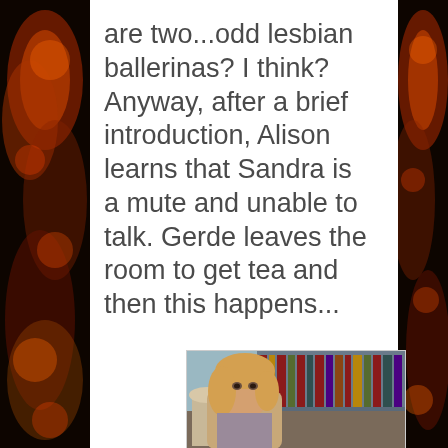are two...odd lesbian ballerinas? I think? Anyway, after a brief introduction, Alison learns that Sandra is a mute and unable to talk. Gerde leaves the room to get tea and then this happens...
[Figure (photo): A movie screenshot showing a person with blonde/light hair in front of a bookshelf, appears to be a scene from a film]